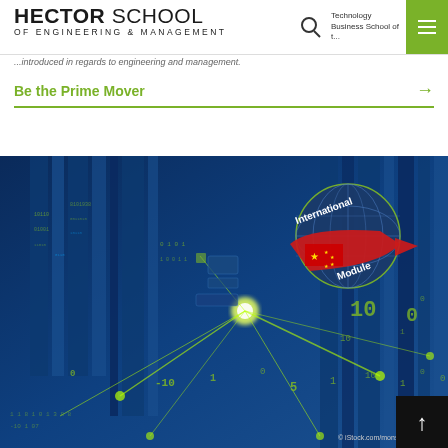HECTOR SCHOOL OF ENGINEERING & MANAGEMENT | Technology Business School of t...
...introduced in regards to engineering and management.
Be the Prime Mover →
[Figure (photo): Technology/digital background image with blue data server visuals and green glowing network connections, featuring an 'International Module' badge with Chinese flag and a globe graphic. © iStock.com/monsitj]